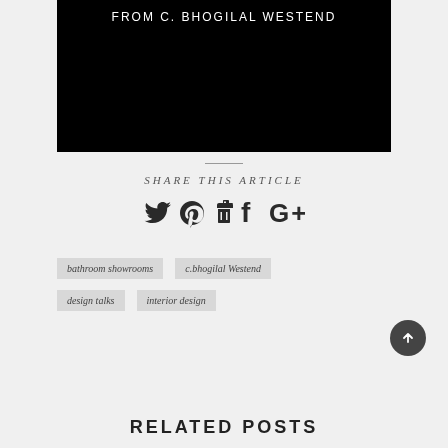[Figure (other): Black video/image block with text 'FROM C. BHOGILAL WESTEND' in white uppercase letters at the top]
SHARE THIS ARTICLE
[Figure (other): Social media sharing icons: Twitter bird, Pinterest P, Facebook f, Google G+]
bathroom showrooms
c.bhogilal Westend
design talks
interior design
RELATED POSTS